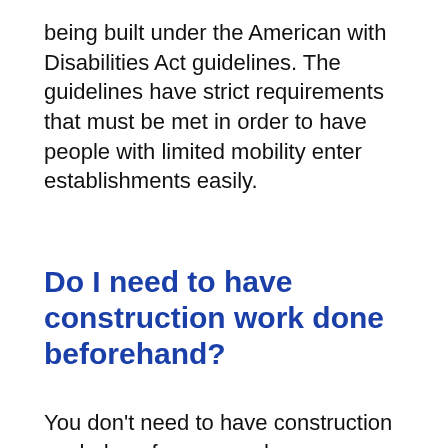being built under the American with Disabilities Act guidelines. The guidelines have strict requirements that must be met in order to have people with limited mobility enter establishments easily.
Do I need to have construction work done beforehand?
You don't need to have construction work done for a ramp, however you do need to have the space for installation. Aluminum